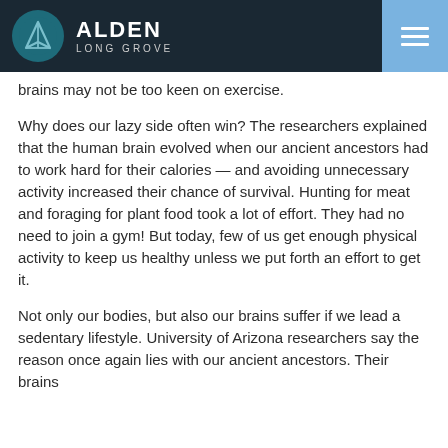ALDEN LONG GROVE
brains may not be too keen on exercise.
Why does our lazy side often win? The researchers explained that the human brain evolved when our ancient ancestors had to work hard for their calories — and avoiding unnecessary activity increased their chance of survival. Hunting for meat and foraging for plant food took a lot of effort. They had no need to join a gym! But today, few of us get enough physical activity to keep us healthy unless we put forth an effort to get it.
Not only our bodies, but also our brains suffer if we lead a sedentary lifestyle. University of Arizona researchers say the reason once again lies with our ancient ancestors. Their brains